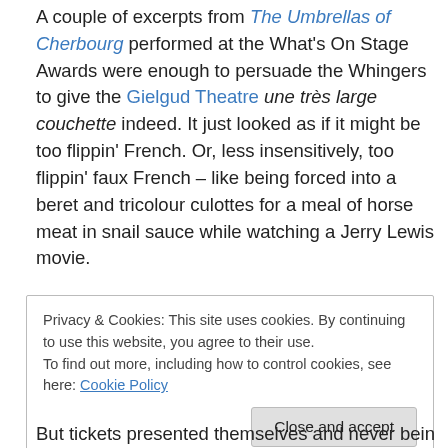A couple of excerpts from The Umbrellas of Cherbourg performed at the What's On Stage Awards were enough to persuade the Whingers to give the Gielgud Theatre une très large couchette indeed. It just looked as if it might be too flippin' French. Or, less insensitively, too flippin' faux French – like being forced into a beret and tricolour culottes for a meal of horse meat in snail sauce while watching a Jerry Lewis movie.
And to be honest, it looked a bit, well, merde. And then we read this.
Privacy & Cookies: This site uses cookies. By continuing to use this website, you agree to their use. To find out more, including how to control cookies, see here: Cookie Policy
But tickets presented themselves and never being ones to